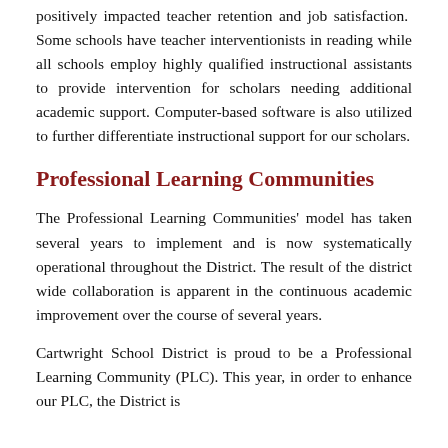positively impacted teacher retention and job satisfaction. Some schools have teacher interventionists in reading while all schools employ highly qualified instructional assistants to provide intervention for scholars needing additional academic support. Computer-based software is also utilized to further differentiate instructional support for our scholars.
Professional Learning Communities
The Professional Learning Communities' model has taken several years to implement and is now systematically operational throughout the District. The result of the district wide collaboration is apparent in the continuous academic improvement over the course of several years.
Cartwright School District is proud to be a Professional Learning Community (PLC). This year, in order to enhance our PLC, the District is